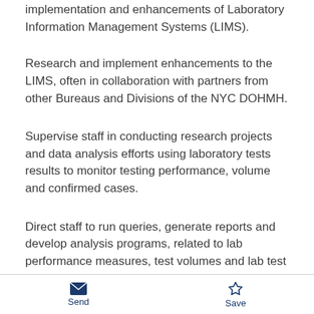implementation and enhancements of Laboratory Information Management Systems (LIMS).
Research and implement enhancements to the LIMS, often in collaboration with partners from other Bureaus and Divisions of the NYC DOHMH.
Supervise staff in conducting research projects and data analysis efforts using laboratory tests results to monitor testing performance, volume and confirmed cases.
Direct staff to run queries, generate reports and develop analysis programs, related to lab performance measures, test volumes and lab test results.
Send   Save